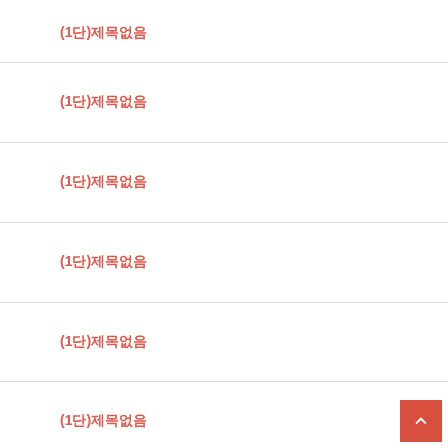(1단)제목없음
(1단)제목없음
(1단)제목없음
(1단)제목없음
(1단)제목없음
(1단)제목없음
(1단)제목없음
(1단)제목없음